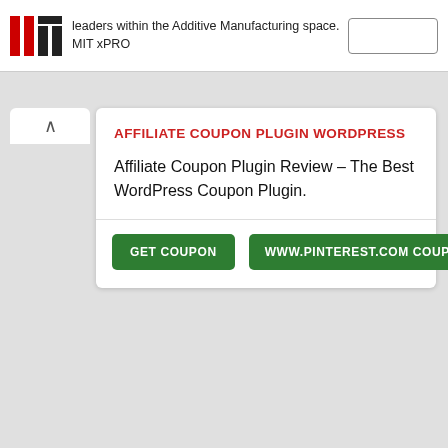[Figure (logo): MIT logo (stylized red and black bars) with text: leaders within the Additive Manufacturing space. MIT xPRO]
leaders within the Additive Manufacturing space. MIT xPRO
AFFILIATE COUPON PLUGIN WORDPRESS
Affiliate Coupon Plugin Review – The Best WordPress Coupon Plugin.
GET COUPON
WWW.PINTEREST.COM COUPON